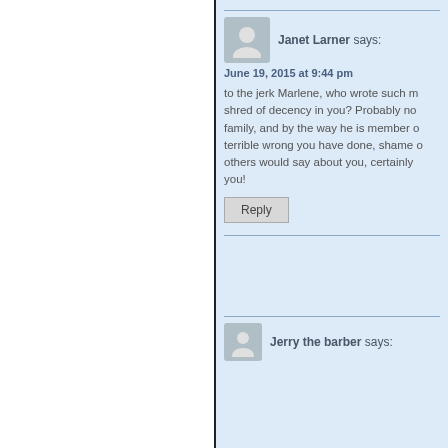Janet Larner says:
June 19, 2015 at 9:44 pm
to the jerk Marlene, who wrote such m... shred of decency in you? Probably no... family, and by the way he is member o... terrible wrong you have done, shame o... others would say about you, certainly... you!
Reply
Jerry the barber says: